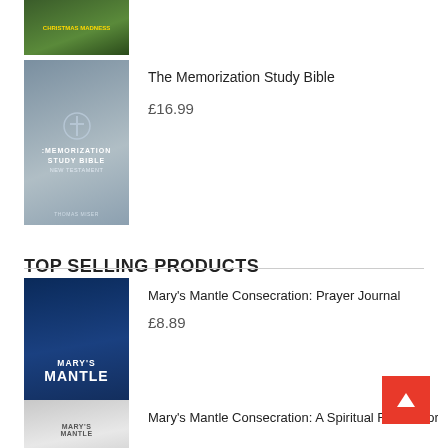[Figure (photo): Book cover - partially visible at top of page, green/dark themed]
[Figure (photo): Book cover - The Memorization Study Bible by Thomas Miser, grey/silver toned cover with cross symbol]
The Memorization Study Bible
£16.99
TOP SELLING PRODUCTS
[Figure (photo): Book cover - Mary's Mantle Consecration: Prayer Journal, dark blue cover with floral wreath]
Mary's Mantle Consecration: Prayer Journal
£8.89
[Figure (photo): Book cover - Mary's Mantle Consecration: A Spiritual Retreat for..., grey cover, partially visible]
Mary's Mantle Consecration: A Spiritual Retreat for